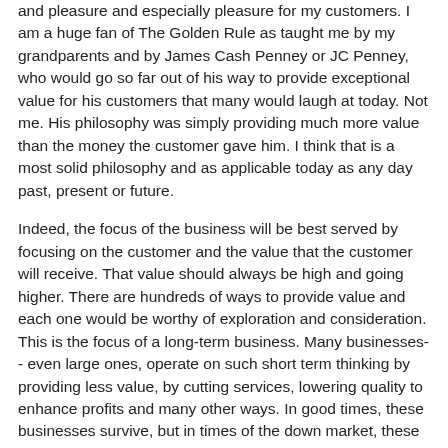and pleasure and especially pleasure for my customers. I am a huge fan of The Golden Rule as taught me by my grandparents and by James Cash Penney or JC Penney, who would go so far out of his way to provide exceptional value for his customers that many would laugh at today. Not me. His philosophy was simply providing much more value than the money the customer gave him. I think that is a most solid philosophy and as applicable today as any day past, present or future.
Indeed, the focus of the business will be best served by focusing on the customer and the value that the customer will receive. That value should always be high and going higher. There are hundreds of ways to provide value and each one would be worthy of exploration and consideration. This is the focus of a long-term business. Many businesses-- even large ones, operate on such short term thinking by providing less value, by cutting services, lowering quality to enhance profits and many other ways. In good times, these businesses survive, but in times of the down market, these businesses have a seriously tough time.
People like doing business with people, and especially